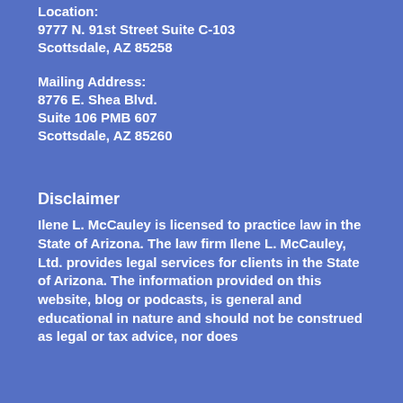Location:
9777 N. 91st Street Suite C-103
Scottsdale, AZ 85258
Mailing Address:
8776 E. Shea Blvd.
Suite 106 PMB 607
Scottsdale, AZ 85260
Disclaimer
Ilene L. McCauley is licensed to practice law in the State of Arizona. The law firm Ilene L. McCauley, Ltd. provides legal services for clients in the State of Arizona. The information provided on this website, blog or podcasts, is general and educational in nature and should not be construed as legal or tax advice, nor does the use of the website create an attorney-client